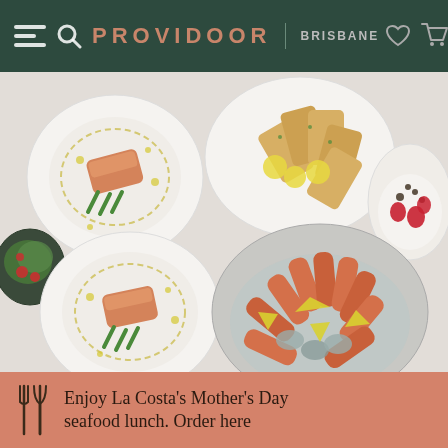PROVIDOOR | BRISBANE
[Figure (photo): Overhead flat-lay photograph of seafood dishes on white plates against a light grey background: salmon with asparagus and olive oil drizzle (top left), garlic bread with lemon slices (top center), dessert with strawberries and chocolate (top right), mixed green salad with cherry tomatoes (left), salmon with asparagus (bottom left), large platter of prawns/shrimp with oysters and lemon wedges on ice (center bottom).]
Enjoy La Costa's Mother's Day seafood lunch. Order here